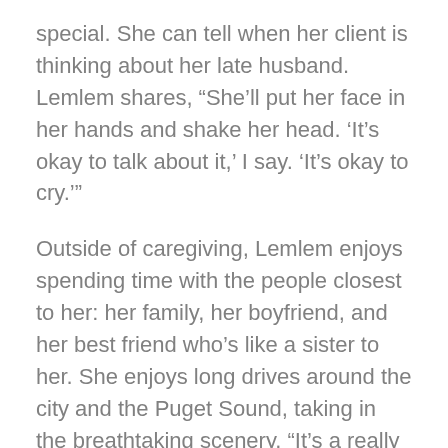special. She can tell when her client is thinking about her late husband. Lemlem shares, “She’ll put her face in her hands and shake her head. ‘It’s okay to talk about it,’ I say. ‘It’s okay to cry.’”
Outside of caregiving, Lemlem enjoys spending time with the people closest to her: her family, her boyfriend, and her best friend who’s like a sister to her. She enjoys long drives around the city and the Puget Sound, taking in the breathtaking scenery. “It’s a really beautiful city, Seattle. Especially when the trees and flowers come out.”
Lemlem’s connection with her clients, her reliability, compassion, and dedication to